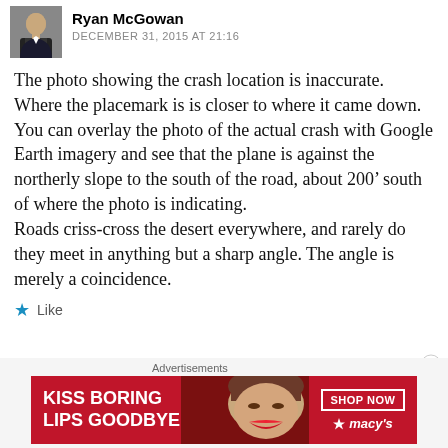Ryan McGowan
DECEMBER 31, 2015 AT 21:16
The photo showing the crash location is inaccurate. Where the placemark is is closer to where it came down. You can overlay the photo of the actual crash with Google Earth imagery and see that the plane is against the northerly slope to the south of the road, about 200’ south of where the photo is indicating.
Roads criss-cross the desert everywhere, and rarely do they meet in anything but a sharp angle. The angle is merely a coincidence.
★ Like
[Figure (advertisement): Macy's advertisement banner with text 'KISS BORING LIPS GOODBYE', SHOP NOW button, model face with red lips, and Macy's star logo]